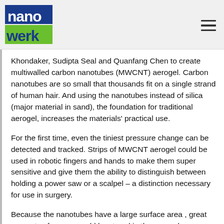nanowerk
Khondaker, Sudipta Seal and Quanfang Chen to create multiwalled carbon nanotubes (MWCNT) aerogel. Carbon nanotubes are so small that thousands fit on a single strand of human hair. And using the nanotubes instead of silica (major material in sand), the foundation for traditional aerogel, increases the materials' practical use.
For the first time, even the tiniest pressure change can be detected and tracked. Strips of MWCNT aerogel could be used in robotic fingers and hands to make them super sensitive and give them the ability to distinguish between holding a power saw or a scalpel – a distinction necessary for use in surgery.
Because the nanotubes have a large surface area , great amounts of energy could be stored in the aerogel, increasing the capacity of lithium batteries or supercapacitors used to store energy generated from renewable resources such as wind and the sun.